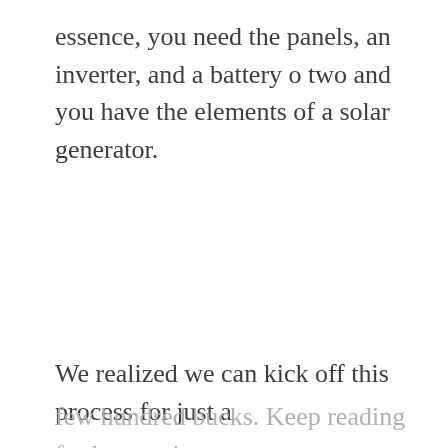essence, you need the panels, an inverter, and a battery o two and you have the elements of a solar generator.
We realized we can kick off this process for just a few hundred bucks. Keep reading for how we're doing it.